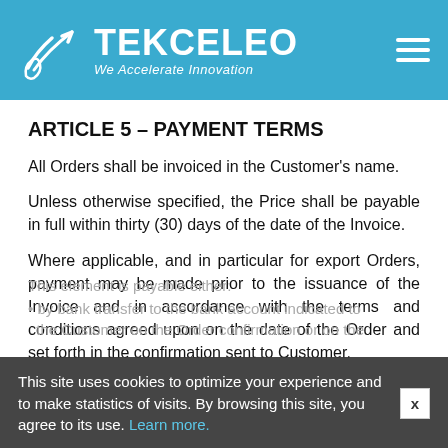TEKCELEO – We Accelerate Innovation
ARTICLE 5 – PAYMENT TERMS
All Orders shall be invoiced in the Customer's name.
Unless otherwise specified, the Price shall be payable in full within thirty (30) days of the date of the Invoice.
Where applicable, and in particular for export Orders, payment may be made prior to the issuance of the Invoice and in accordance with the terms and conditions agreed upon on the date of the Order and set forth in the confirmation sent to Customer.
This site uses cookies to optimize your experience and to make statistics of visits. By browsing this site, you agree to its use. Learn more.